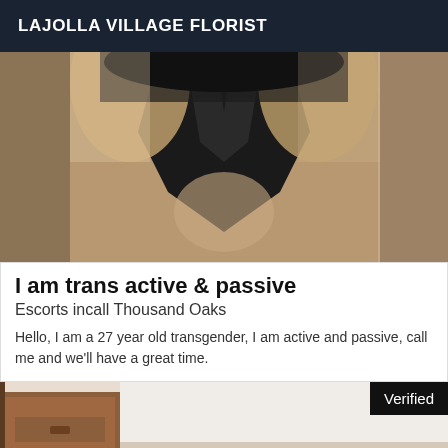LAJOLLA VILLAGE FLORIST
[Figure (photo): Photo of a person wearing a black top, face partially obscured, cropped view from above]
I am trans active & passive
Escorts incall Thousand Oaks
Hello, I am a 27 year old transgender, I am active and passive, call me and we'll have a great time.
[Figure (photo): Partial interior photo with a wooden nightstand visible on the left side, with a Verified badge in the top right corner]